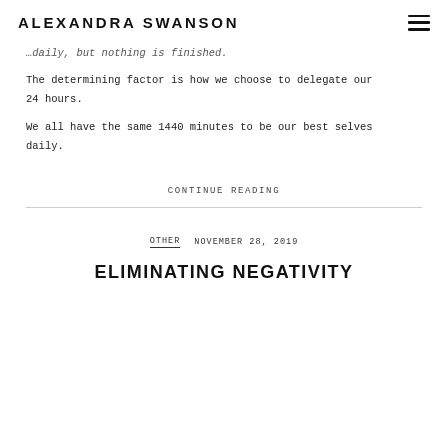ALEXANDRA SWANSON
…daily, but nothing is finished.
The determining factor is how we choose to delegate our 24 hours.
We all have the same 1440 minutes to be our best selves daily.
CONTINUE READING
OTHER   NOVEMBER 28, 2019
ELIMINATING NEGATIVITY